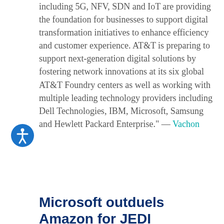including 5G, NFV, SDN and IoT are providing the foundation for businesses to support digital transformation initiatives to enhance efficiency and customer experience. AT&T is preparing to support next-generation digital solutions by fostering network innovations at its six global AT&T Foundry centers as well as working with multiple leading technology providers including Dell Technologies, IBM, Microsoft, Samsung and Hewlett Packard Enterprise." — Vachon
Microsoft outduels Amazon for JEDI
10.28.19   0 Comments   in Special Reports   by John